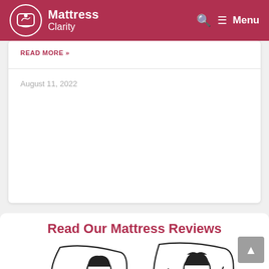Mattress Clarity — Menu
READ MORE »
August 11, 2022
Read Our Mattress Reviews
[Figure (illustration): Two people lying in bed holding pillows — a woman with a bob haircut in a teal top on the left and a bearded man on the right, both relaxed with eyes closed]